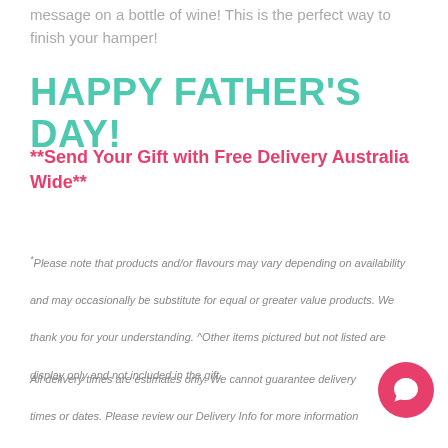message on a bottle of wine! This is the perfect way to finish your hamper!
HAPPY FATHER'S DAY!
**Send Your Gift with Free Delivery Australia Wide**
*Please note that products and/or flavours may vary depending on availability and may occasionally be substitute for equal or greater value products. We thank you for your understanding. ^Other items pictured but not listed are display only and not included in the gift.
All delivery times are estimates only. We cannot guarantee delivery times or dates. Please review our Delivery Info for more information